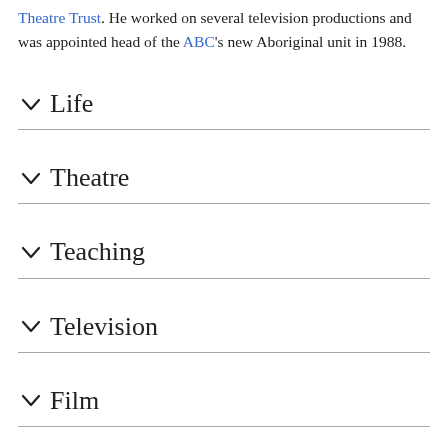Theatre Trust. He worked on several television productions and was appointed head of the ABC's new Aboriginal unit in 1988.
Life
Theatre
Teaching
Television
Film